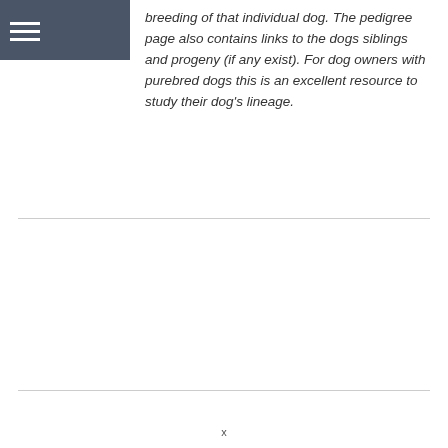breeding of that individual dog. The pedigree page also contains links to the dogs siblings and progeny (if any exist). For dog owners with purebred dogs this is an excellent resource to study their dog's lineage.
x